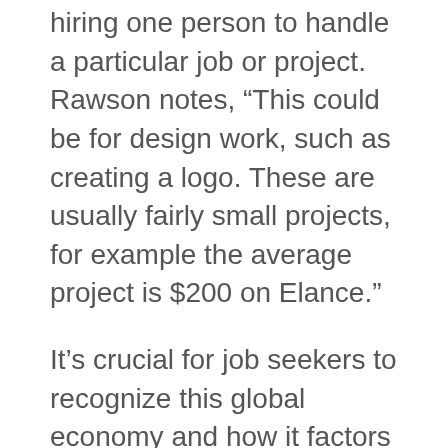hiring one person to handle a particular job or project. Rawson notes, “This could be for design work, such as creating a logo. These are usually fairly small projects, for example the average project is $200 on Elance.”
It’s crucial for job seekers to recognize this global economy and how it factors into opportunities and how to find them.
What does the future of online work look like? Rawson believes the following are key factors for people to consider:
Increasing globalization. “It’s clear